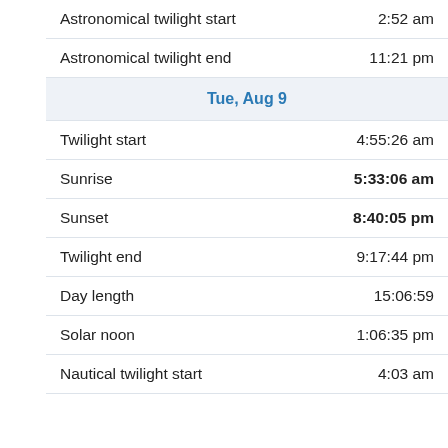| Event | Time |
| --- | --- |
| Astronomical twilight start | 2:52 am |
| Astronomical twilight end | 11:21 pm |
| Tue, Aug 9 |  |
| Twilight start | 4:55:26 am |
| Sunrise | 5:33:06 am |
| Sunset | 8:40:05 pm |
| Twilight end | 9:17:44 pm |
| Day length | 15:06:59 |
| Solar noon | 1:06:35 pm |
| Nautical twilight start | 4:03 am |